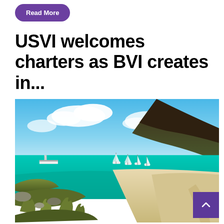Read More
USVI welcomes charters as BVI creates in...
[Figure (photo): Tropical Caribbean beach scene with turquoise water, white sandy beach, sailboats and a ferry anchored in the bay, lush green vegetation in the foreground, and a dark green hill and clouds in the background.]